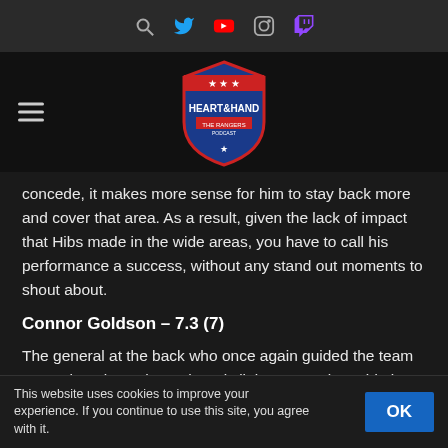Heart & Hand – The Rangers Podcast (website header with social icons and logo)
concede, it makes more sense for him to stay back more and cover that area. As a result, given the lack of impact that Hibs made in the wide areas, you have to call his performance a success, without any stand out moments to shout about.
Connor Goldson – 7.3 (7)
The general at the back who once again guided the team to another clean sheet, there is little more to be said about Connor Goldson other than he may well have
This website uses cookies to improve your experience. If you continue to use this site, you agree with it.